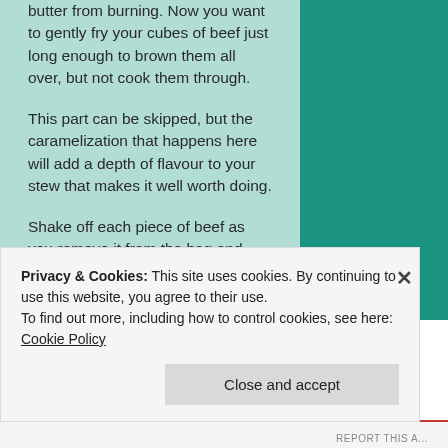butter from burning. Now you want to gently fry your cubes of beef just long enough to brown them all over, but not cook them through.
This part can be skipped, but the caramelization that happens here will add a depth of flavour to your stew that makes it well worth doing.
Shake off each piece of beef as you remove it from the bag and place it gently into the pan. Only brown off a few cubes at a time as this will help to keep the temperature of the pan stable and help the meat to brown rather than steam.
Privacy & Cookies: This site uses cookies. By continuing to use this website, you agree to their use.
To find out more, including how to control cookies, see here: Cookie Policy
Close and accept